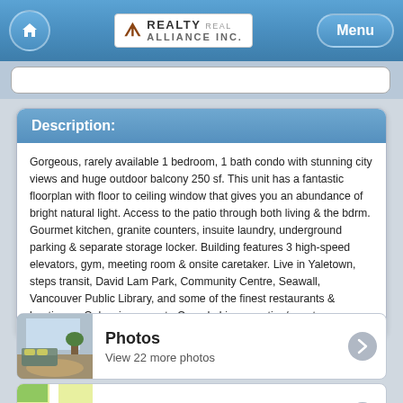Realty Alliance Inc. — Navigation bar with home button and menu
Description:
Gorgeous, rarely available 1 bedroom, 1 bath condo with stunning city views and huge outdoor balcony 250 sf. This unit has a fantastic floorplan with floor to ceiling window that gives you an abundance of bright natural light. Access to the patio through both living & the bdrm. Gourmet kitchen, granite counters, insuite laundry, underground parking & separate storage locker. Building features 3 high-speed elevators, gym, meeting room & onsite caretaker. Live in Yaletown, steps transit, David Lam Park, Community Centre, Seawall, Vancouver Public Library, and some of the finest restaurants & boutiques. Only mins away to Canada Line, sporting/events.
[Figure (photo): Thumbnail photo of a living room interior with city view balcony]
Photos
View 22 more photos
[Figure (map): Thumbnail map showing location]
View on Map
2802 977 MAINLAND STREET, Vancouver